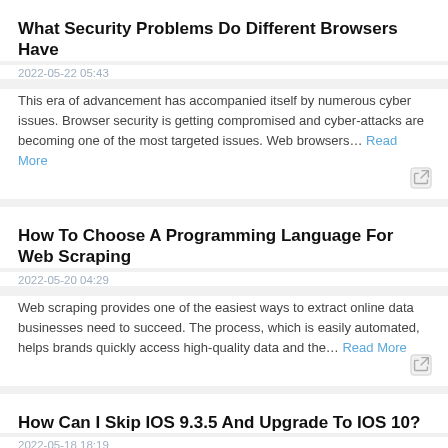What Security Problems Do Different Browsers Have
2022-05-22 05:43
This era of advancement has accompanied itself by numerous cyber issues. Browser security is getting compromised and cyber-attacks are becoming one of the most targeted issues. Web browsers… Read More
How To Choose A Programming Language For Web Scraping
2022-05-20 04:29
Web scraping provides one of the easiest ways to extract online data businesses need to succeed. The process, which is easily automated, helps brands quickly access high-quality data and the… Read More
How Can I Skip IOS 9.3.5 And Upgrade To IOS 10?
2022-05-18 18:19
Are you an iPhone 4S user and want to enjoy the updated features of iOS 10? Well, it is possible to get interactive notifications on the lock